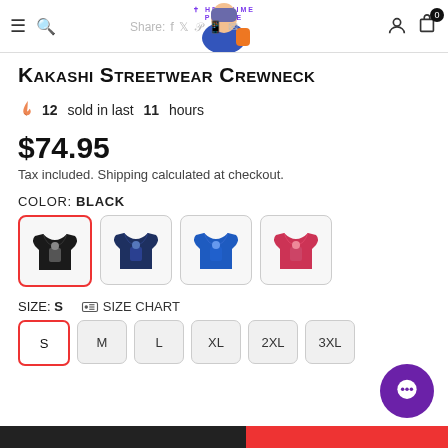The Anime Prince — navigation header with share icons
Kakashi Streetwear Crewneck
🔥 12 sold in last 11 hours
$74.95
Tax included. Shipping calculated at checkout.
COLOR: BLACK
[Figure (photo): Four color swatches of Kakashi Streetwear Crewneck: black (selected, red border), navy blue, royal blue, red/pink]
SIZE: S  🗂 SIZE CHART
Size options: S (selected), M, L, XL, 2XL, 3XL